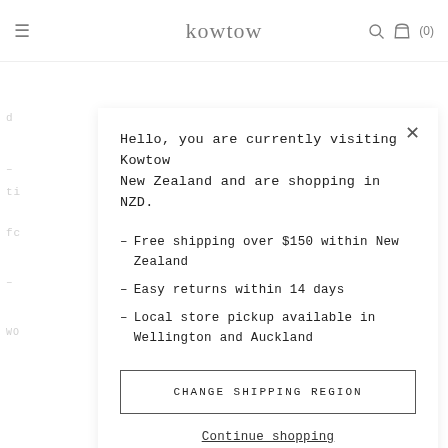kowtow  (0)
Hello, you are currently visiting Kowtow New Zealand and are shopping in NZD.
– Free shipping over $150 within New Zealand
– Easy returns within 14 days
– Local store pickup available in Wellington and Auckland
CHANGE SHIPPING REGION
Continue shopping